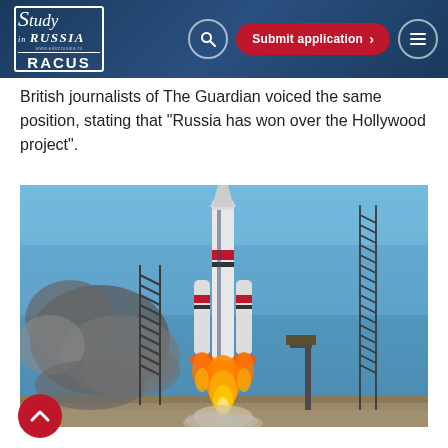Study in Russia — RACUS — Submit application
British journalists of The Guardian voiced the same position, stating that “Russia has won over the Hollywood project”.
[Figure (photo): Rocket (Soyuz) launching from a launchpad with flame and smoke, set against a blue sky with two lattice towers visible on either side.]